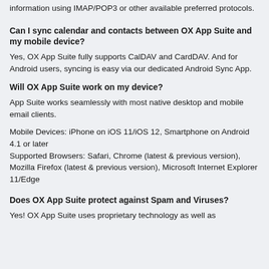information using IMAP/POP3 or other available preferred protocols.
Can I sync calendar and contacts between OX App Suite and my mobile device?
Yes, OX App Suite fully supports CalDAV and CardDAV. And for Android users, syncing is easy via our dedicated Android Sync App.
Will OX App Suite work on my device?
App Suite works seamlessly with most native desktop and mobile email clients.
Mobile Devices: iPhone on iOS 11/iOS 12, Smartphone on Android 4.1 or later
Supported Browsers: Safari, Chrome (latest & previous version), Mozilla Firefox (latest & previous version), Microsoft Internet Explorer 11/Edge
Does OX App Suite protect against Spam and Viruses?
Yes! OX App Suite uses proprietary technology as well as